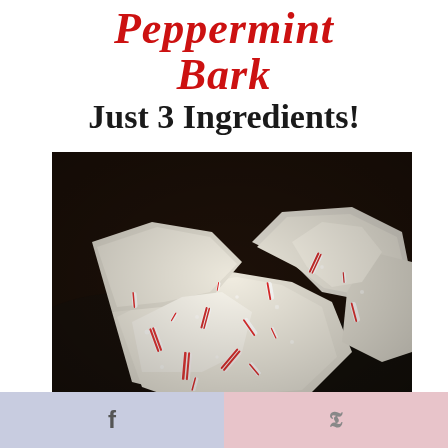Peppermint Bark Just 3 Ingredients!
[Figure (photo): Close-up photo of peppermint bark pieces showing dark chocolate base topped with white chocolate and crushed peppermint candy cane pieces]
f  p